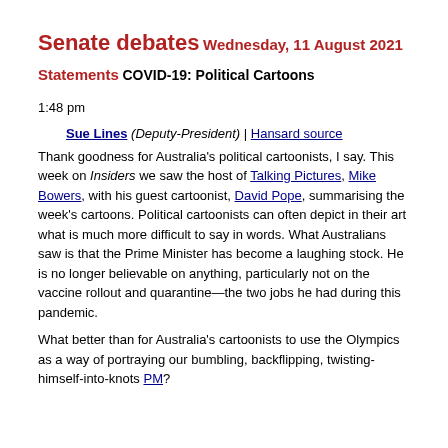Senate debates
Wednesday, 11 August 2021
Statements
COVID-19: Political Cartoons
1:48 pm
Sue Lines (Deputy-President) | Hansard source
Thank goodness for Australia's political cartoonists, I say. This week on Insiders we saw the host of Talking Pictures, Mike Bowers, with his guest cartoonist, David Pope, summarising the week's cartoons. Political cartoonists can often depict in their art what is much more difficult to say in words. What Australians saw is that the Prime Minister has become a laughing stock. He is no longer believable on anything, particularly not on the vaccine rollout and quarantine—the two jobs he had during this pandemic.
What better than for Australia's cartoonists to use the Olympics as a way of portraying our bumbling, backflipping, twisting-himself-into-knots PM?